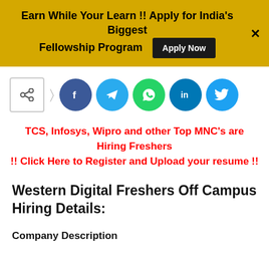Earn While Your Learn !! Apply for India's Biggest Fellowship Program  Apply Now  ×
[Figure (infographic): Share icon box with right arrow and five social media circles: Facebook (dark blue), Telegram (blue), WhatsApp (green), LinkedIn (dark teal), Twitter (light blue)]
TCS, Infosys, Wipro and other Top MNC's are Hiring Freshers !! Click Here to Register and Upload your resume !!
Western Digital Freshers Off Campus Hiring Details:
Company Description